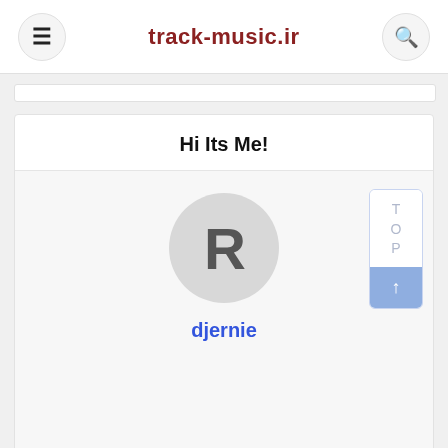track-music.ir
Hi Its Me!
[Figure (illustration): Gray circle avatar with large letter R, representing a user profile placeholder.]
djernie